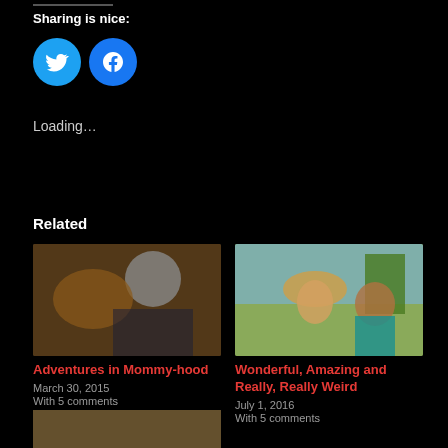Sharing is nice:
[Figure (other): Twitter and Facebook social share buttons (circular cyan and blue buttons with bird and f icons)]
Loading...
Related
[Figure (photo): Photo of a child in a gray beanie hat looking at a dog]
Adventures in Mommy-hood
March 30, 2015
With 5 comments
[Figure (photo): Photo of a woman in a straw hat and a child outdoors]
Wonderful, Amazing and Really, Really Weird
July 1, 2016
With 5 comments
[Figure (photo): Partial photo visible at bottom of page]